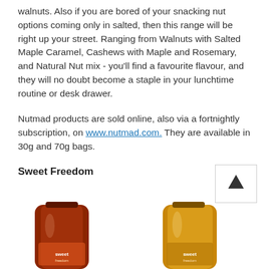walnuts. Also if you are bored of your snacking nut options coming only in salted, then this range will be right up your street. Ranging from Walnuts with Salted Maple Caramel, Cashews with Maple and Rosemary, and Natural Nut mix - you'll find a favourite flavour, and they will no doubt become a staple in your lunchtime routine or desk drawer.
Nutmad products are sold online, also via a fortnightly subscription, on www.nutmad.com. They are available in 30g and 70g bags.
Sweet Freedom
[Figure (photo): Two Sweet Freedom product jars/bottles. Left one is a dark reddish-brown bottle, right one is a golden/amber colored bottle. Both partially cropped at the bottom of the page.]